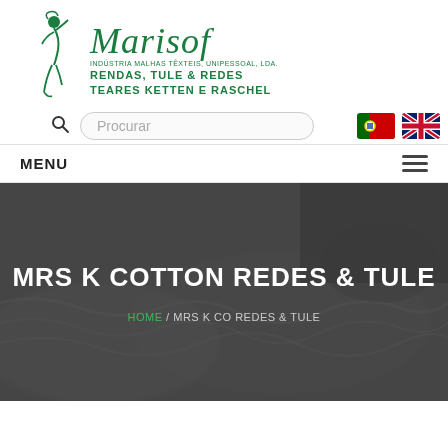[Figure (logo): Marisof company logo with stylized female figure, italic brand name in green, and subtitle text: INDÚSTRIA MALHAS TÊXTEIS, UNIPESSOAL, LDA. / RENDAS, TULE & REDES / TEARES KETTEN E RASCHEL]
[Figure (screenshot): Search bar with magnifying glass icon and placeholder text 'Procurar', flanked by Portuguese and UK flag icons]
MENU
[Figure (photo): Hero background photo of white/grey textile fabric (cotton nets and tulle) with a dark overlay. Title: MRS K COTTON REDES & TULE. Breadcrumb: HOME / MRS K CO REDES & TULE]